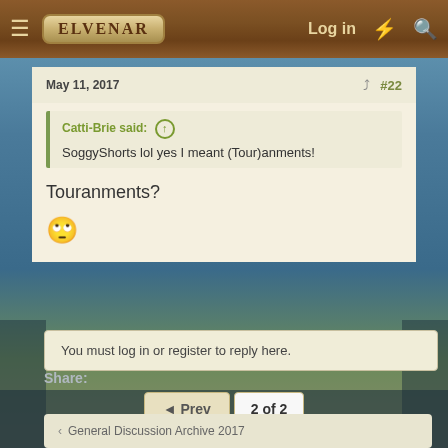ELVENAR  Log in
May 11, 2017  #22
Catti-Brie said: ⊕
SoggyShorts lol yes I meant (Tour)anments!
Touranments?
[Figure (other): Rolling eyes emoji 🙄]
◄ Prev  2 of 2
You must log in or register to reply here.
Share:
‹ General Discussion Archive 2017